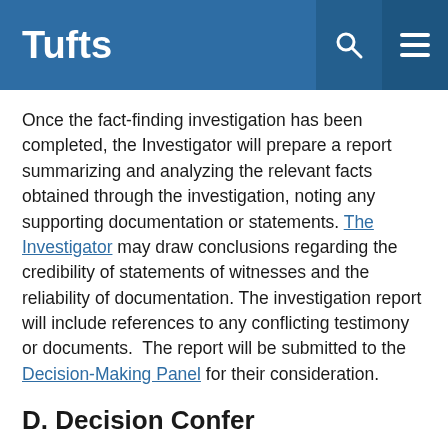Tufts
Once the fact-finding investigation has been completed, the Investigator will prepare a report summarizing and analyzing the relevant facts obtained through the investigation, noting any supporting documentation or statements. The Investigator may draw conclusions regarding the credibility of statements of witnesses and the reliability of documentation. The investigation report will include references to any conflicting testimony or documents.  The report will be submitted to the Decision-Making Panel for their consideration.
D. Decision Confer...